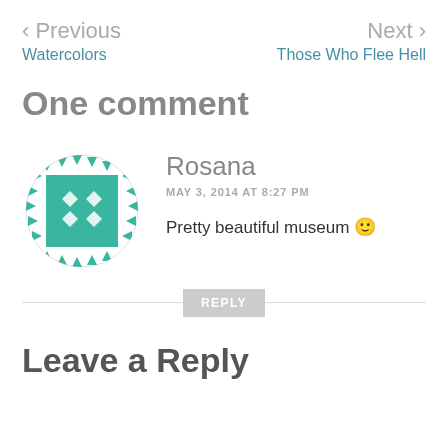< Previous
Watercolors
Next >
Those Who Flee Hell
One comment
[Figure (illustration): Circular avatar with teal geometric/quilt pattern design on white background]
Rosana
MAY 3, 2014 AT 8:27 PM

Pretty beautiful museum 🙂
REPLY
Leave a Reply